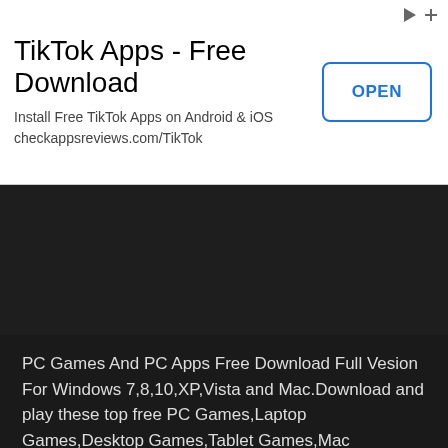[Figure (screenshot): Advertisement banner for TikTok Apps Free Download with OPEN button]
TikTok Apps - Free Download
Install Free TikTok Apps on Android & iOS
checkappsreviews.com/TikTok
Spiderman Games
GTA Vice City Games
PC Games And PC Apps Free Download Full Vesion For Windows 7,8,10,XP,Vista and Mac.Download and play these top free PC Games,Laptop Games,Desktop Games,Tablet Games,Mac Games.Also you can download free software and apps for PC (Windows 7,8,10,XP,Vista) and Mac. Welcome to Freepcdownload.net,the source of the best download free games.This is one of the best places on the Web to play new PC/Laptop games for free in 2019!Our games are licensed Full Version PC Games. Download and play racing games,3d action games, car games, bike games, 3d games,shooting games, fighting games,adventure games hidden object games